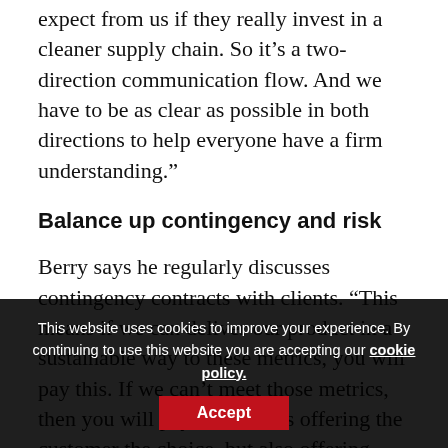expect from us if they really invest in a cleaner supply chain. So it’s a two-direction communication flow. And we have to be as clear as possible in both directions to help everyone have a firm understanding.”
Balance up contingency and risk
Berry says he regularly discusses contingency contracts with clients. “This means if we can deliver our product in a sustainable way to these metrics, you will pay this. If we can’t meet those metrics, then you will pay this. That’s offering the customer the choice, but also offering them the benefit of a more sustainable product.
“Contingency contracts are very useful in business generally, but also in negotiations. They allow you to have different options…
This website uses cookies to improve your experience. By continuing to use this website you are accepting our cookie policy. Accept